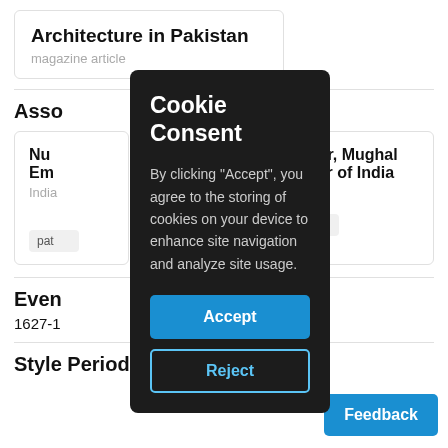Architecture in Pakistan
magazine article
Asso
Nur Emp
India
pat
Jahangir, Mughal Emperor of India
India
dedicatee
Even
1627-1
Style Periods
[Figure (screenshot): Cookie consent popup overlay with dark background, title 'Cookie Consent', explanatory text, Accept button (blue), and Reject button (outlined blue)]
Feedback